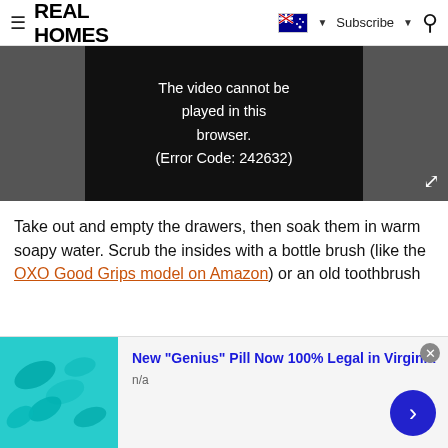REAL HOMES | Subscribe | [flag icon] | Search
[Figure (screenshot): Video player showing error message: 'The video cannot be played in this browser. (Error Code: 242632)' on a dark background with fullscreen button.]
Take out and empty the drawers, then soak them in warm soapy water. Scrub the insides with a bottle brush (like the OXO Good Grips model on Amazon) or an old toothbrush
[Figure (infographic): Advertisement banner: 'New "Genius" Pill Now 100% Legal in Virginia' with teal pill image on left and blue arrow button on right. Sub-label: n/a]